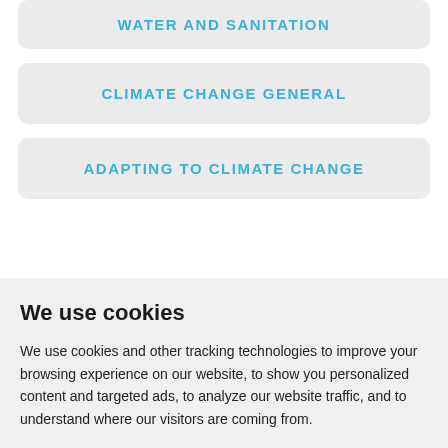WATER AND SANITATION
CLIMATE CHANGE GENERAL
ADAPTING TO CLIMATE CHANGE
We use cookies
We use cookies and other tracking technologies to improve your browsing experience on our website, to show you personalized content and targeted ads, to analyze our website traffic, and to understand where our visitors are coming from.